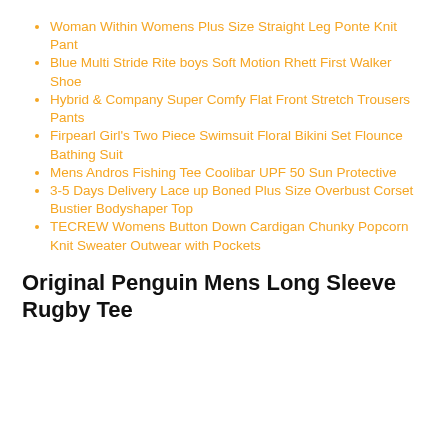Woman Within Womens Plus Size Straight Leg Ponte Knit Pant
Blue Multi Stride Rite boys Soft Motion Rhett First Walker Shoe
Hybrid & Company Super Comfy Flat Front Stretch Trousers Pants
Firpearl Girl's Two Piece Swimsuit Floral Bikini Set Flounce Bathing Suit
Mens Andros Fishing Tee Coolibar UPF 50 Sun Protective
3-5 Days Delivery Lace up Boned Plus Size Overbust Corset Bustier Bodyshaper Top
TECREW Womens Button Down Cardigan Chunky Popcorn Knit Sweater Outwear with Pockets
Original Penguin Mens Long Sleeve Rugby Tee